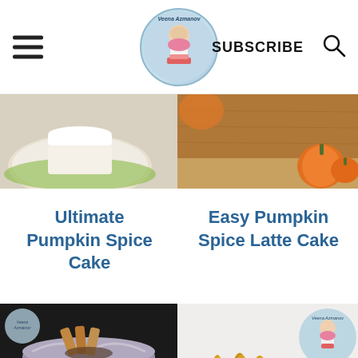Veena Azmanov — SUBSCRIBE [search icon]
[Figure (photo): Partial photo of a cake with white frosting on a green plate (top-left)]
[Figure (photo): Partial photo of a wooden cutting board with pumpkins (top-right)]
Ultimate Pumpkin Spice Cake
Easy Pumpkin Spice Latte Cake
[Figure (photo): Photo of a chocolate/spice cake with cinnamon sticks on a dark background]
[Figure (photo): Photo of a cake with gold meringue peaks with Veena Azmanov logo overlay]